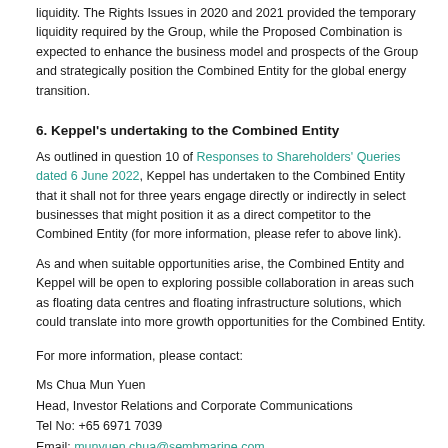liquidity. The Rights Issues in 2020 and 2021 provided the temporary liquidity required by the Group, while the Proposed Combination is expected to enhance the business model and prospects of the Group and strategically position the Combined Entity for the global energy transition.
6. Keppel's undertaking to the Combined Entity
As outlined in question 10 of Responses to Shareholders' Queries dated 6 June 2022, Keppel has undertaken to the Combined Entity that it shall not for three years engage directly or indirectly in select businesses that might position it as a direct competitor to the Combined Entity (for more information, please refer to above link).
As and when suitable opportunities arise, the Combined Entity and Keppel will be open to exploring possible collaboration in areas such as floating data centres and floating infrastructure solutions, which could translate into more growth opportunities for the Combined Entity.
For more information, please contact:
Ms Chua Mun Yuen
Head, Investor Relations and Corporate Communications
Tel No: +65 6971 7039
Email: munyuen.chua@sembmarine.com